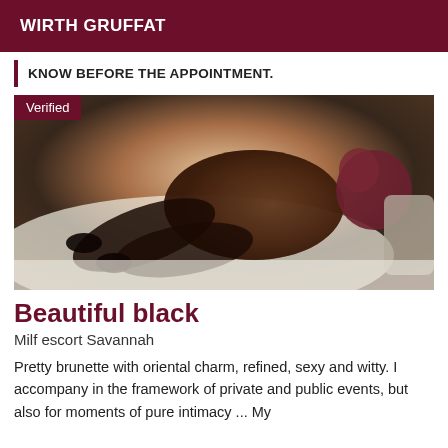WIRTH GRUFFAT
KNOW BEFORE THE APPOINTMENT.
[Figure (photo): Woman lying on a bed wearing a black lace bodysuit and high heels, with a 'Verified' badge in the top left corner.]
Beautiful black
Milf escort Savannah
Pretty brunette with oriental charm, refined, sexy and witty. I accompany in the framework of private and public events, but also for moments of pure intimacy ... My